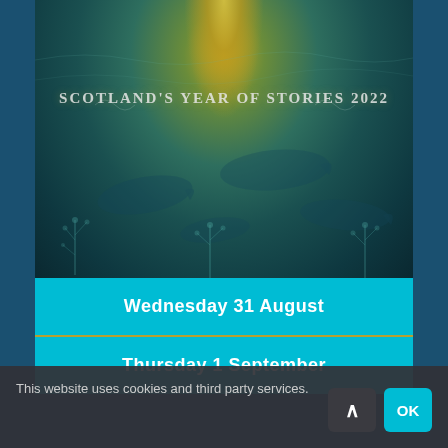[Figure (illustration): Scotland's Year of Stories 2022 decorative illustration with underwater/mystical teal scene featuring whale silhouettes, light rays from above, and decorative plant motifs. White stylized text reads 'Scotland's Year of Stories 2022'.]
Wednesday 31 August
Thursday 1 September
This website uses cookies and third party services.